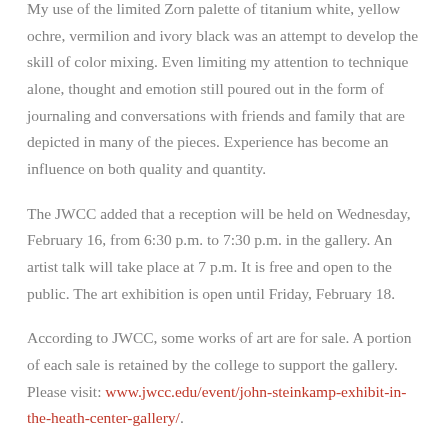My use of the limited Zorn palette of titanium white, yellow ochre, vermilion and ivory black was an attempt to develop the skill of color mixing. Even limiting my attention to technique alone, thought and emotion still poured out in the form of journaling and conversations with friends and family that are depicted in many of the pieces. Experience has become an influence on both quality and quantity.
The JWCC added that a reception will be held on Wednesday, February 16, from 6:30 p.m. to 7:30 p.m. in the gallery. An artist talk will take place at 7 p.m. It is free and open to the public. The art exhibition is open until Friday, February 18.
According to JWCC, some works of art are for sale. A portion of each sale is retained by the college to support the gallery. Please visit: www.jwcc.edu/event/john-steinkamp-exhibit-in-the-heath-center-gallery/.
Copyright 2022 WGEM. All rights reserved.